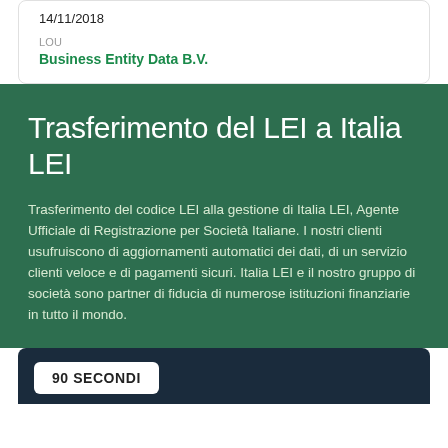14/11/2018
LOU
Business Entity Data B.V.
Trasferimento del LEI a Italia LEI
Trasferimento del codice LEI alla gestione di Italia LEI, Agente Ufficiale di Registrazione per Società Italiane. I nostri clienti usufruiscono di aggiornamenti automatici dei dati, di un servizio clienti veloce e di pagamenti sicuri. Italia LEI e il nostro gruppo di società sono partner di fiducia di numerose istituzioni finanziarie in tutto il mondo.
90 SECONDI